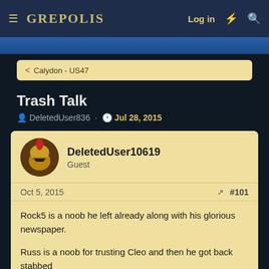GREPOLIS — Log in
Calydon - US47
Trash Talk
DeletedUser836 · Jul 28, 2015
DeletedUser10619
Guest
Oct 5, 2015  #101
Rock5 is a noob he left already along with his glorious newspaper.

Russ is a noob for trusting Cleo and then he got back stabbed

Kyle is a noob for not even knowing what happened to his